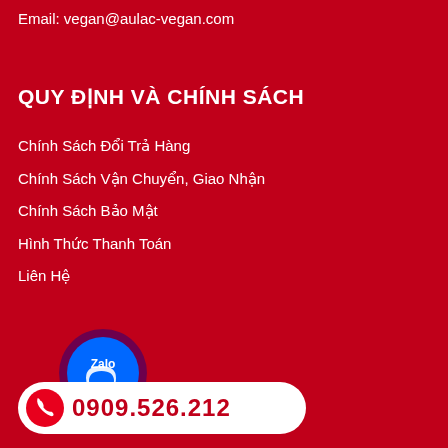Email: vegan@aulac-vegan.com
QUY ĐỊNH VÀ CHÍNH SÁCH
Chính Sách Đổi Trả Hàng
Chính Sách Vận Chuyển, Giao Nhận
Chính Sách Bảo Mật
Hình Thức Thanh Toán
Liên Hệ
[Figure (logo): Zalo contact button - circular blue icon with white Zalo logo]
0909.526.212